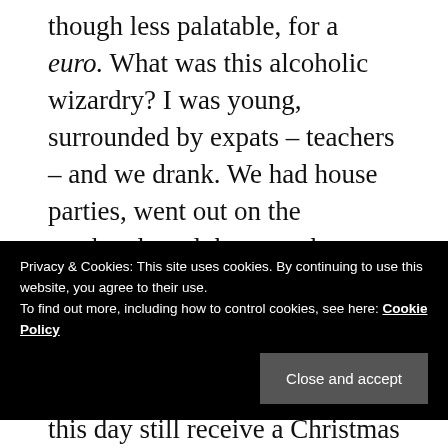though less palatable, for a euro. What was this alcoholic wizardry? I was young, surrounded by expats – teachers – and we drank. We had house parties, went out on the weekends and that was that. Cheap booze.
Quickly, via experiences as varied as eating arroz con bogavante (lobster
Privacy & Cookies: This site uses cookies. By continuing to use this website, you agree to their use. To find out more, including how to control cookies, see here: Cookie Policy
this day still receive a Christmas